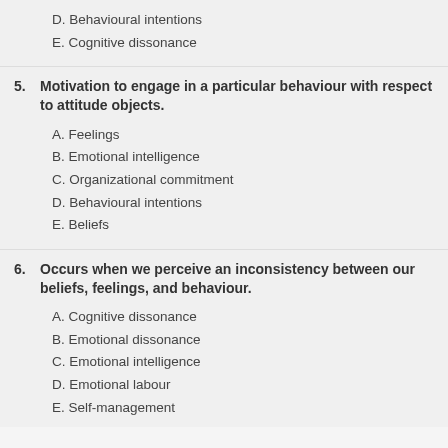D. Behavioural intentions
E. Cognitive dissonance
5. Motivation to engage in a particular behaviour with respect to attitude objects.
A. Feelings
B. Emotional intelligence
C. Organizational commitment
D. Behavioural intentions
E. Beliefs
6. Occurs when we perceive an inconsistency between our beliefs, feelings, and behaviour.
A. Cognitive dissonance
B. Emotional dissonance
C. Emotional intelligence
D. Emotional labour
E. Self-management